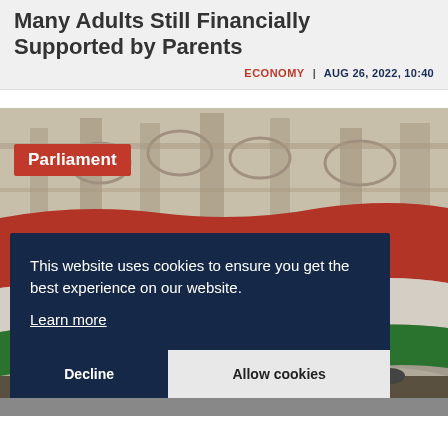Many Adults Still Financially Supported by Parents
ECONOMY | AUG 26, 2022, 10:40
[Figure (photo): Hungarian Parliament building facade with the Hungarian national flag (red, white, and green tricolor) waving in the foreground. A red label reading 'Parliament' is overlaid in the upper left.]
This website uses cookies to ensure you get the best experience on our website. Learn more
Decline | Allow cookies